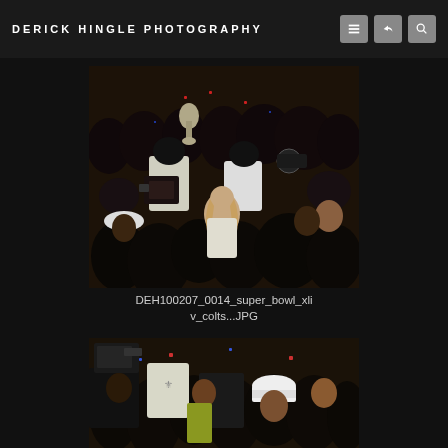DERICK HINGLE PHOTOGRAPHY
[Figure (photo): Crowd of people celebrating, someone holding up a Vince Lombardi Trophy (Super Bowl trophy), with camera crews and players in New Orleans Saints uniforms visible]
DEH100207_0014_super_bowl_xliv_colts...JPG
[Figure (photo): Partial view of crowd celebrating, people in New Orleans Saints gear with confetti in the air]